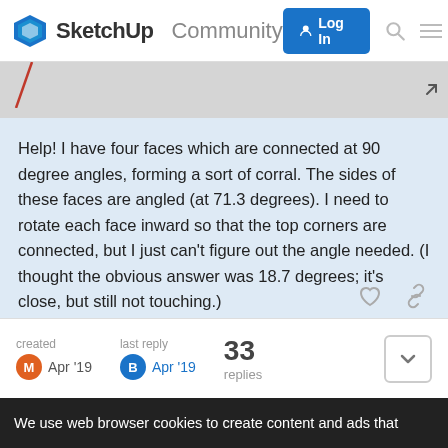SketchUp Community  Log In
[Figure (screenshot): Partial screenshot of a SketchUp 3D model showing angled faces, with a red diagonal line on the left. An expand icon is visible on the right.]
Help! I have four faces which are connected at 90 degree angles, forming a sort of corral. The sides of these faces are angled (at 71.3 degrees). I need to rotate each face inward so that the top corners are connected, but I just can't figure out the angle needed. (I thought the obvious answer was 18.7 degrees; it's close, but still not touching.)

I feel like there must be a simple method or mathematical formula to solve this, but I just can't work it out. Hoping someone can offer advice!
created  Apr '19    last reply  Apr '19    33 replies
We use web browser cookies to create content and ads that